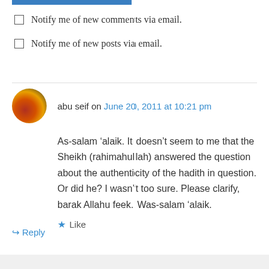Notify me of new comments via email.
Notify me of new posts via email.
abu seif on June 20, 2011 at 10:21 pm
As-salam ‘alaik. It doesn’t seem to me that the Sheikh (rahimahullah) answered the question about the authenticity of the hadith in question. Or did he? I wasn’t too sure. Please clarify, barak Allahu feek. Was-salam ‘alaik.
Like
Reply